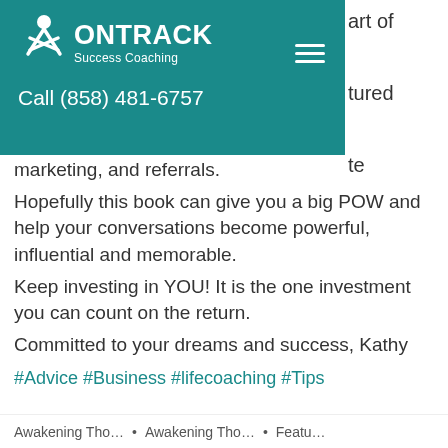ON TRACK Success Coaching — Call (858) 481-6757
marketing, and referrals.
Hopefully this book can give you a big POW and help your conversations become powerful, influential and memorable.
Keep investing in YOU! It is the one investment you can count on the return.
Committed to your dreams and success, Kathy
#Advice #Business #lifecoaching #Tips
Awakening Tho… • Awakening Tho… • Featu…